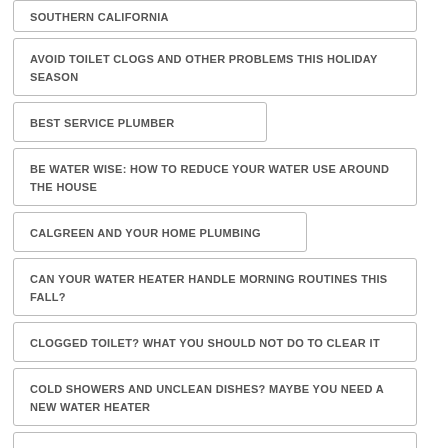SOUTHERN CALIFORNIA
AVOID TOILET CLOGS AND OTHER PROBLEMS THIS HOLIDAY SEASON
BEST SERVICE PLUMBER
BE WATER WISE: HOW TO REDUCE YOUR WATER USE AROUND THE HOUSE
CALGREEN AND YOUR HOME PLUMBING
CAN YOUR WATER HEATER HANDLE MORNING ROUTINES THIS FALL?
CLOGGED TOILET? WHAT YOU SHOULD NOT DO TO CLEAR IT
COLD SHOWERS AND UNCLEAN DISHES? MAYBE YOU NEED A NEW WATER HEATER
COMMON FAUCET PROBLEMS AND WHAT TO DO